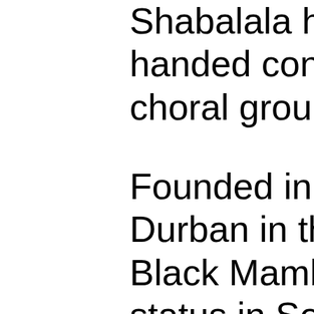Shabalala had handed control choral group to Founded in the Durban in the 1 Black Mambazo status in South "Mambazo" me